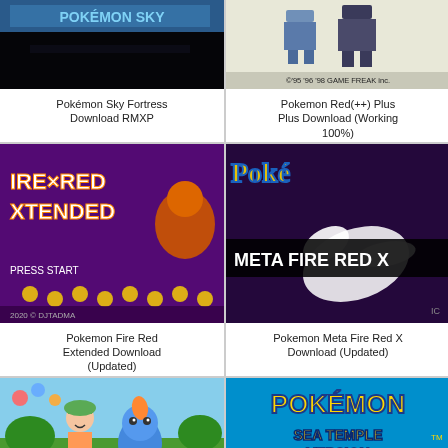[Figure (screenshot): Pokemon Sky Fortress game title screen - dark/black background with partial title text visible in blue/teal colors]
Pokémon Sky Fortress Download RMXP
[Figure (screenshot): Pokemon Red game with two Game Freak characters, copyright text '©'95 '96 '98 GAME FREAK inc.' at bottom]
Pokemon Red(++) Plus Plus Download (Working 100%)
[Figure (screenshot): Pokemon Fire Red Extended title screen with purple background, orange monster sprites, text reading 'IRE x RED XTENDED', 'PRESS START', '2020 © DJTADMA']
Pokemon Fire Red Extended Download (Updated)
[Figure (screenshot): Pokemon Meta Fire Red X title screen with dark purple background, legendary Pokemon character, yellow Pokemon logo partial, white text 'META FIRE RED X']
Pokemon Meta Fire Red X Download (Updated)
[Figure (screenshot): Pokemon game showing a female character with green hat and a blue creature (Mudkip-like) with colorful bubbles, green outdoor setting]
[Figure (screenshot): Pokemon Sea Temple Version title screen with blue/teal background and yellow Pokemon logo text reading 'POKÉMON SEA TEMPLE VERSION']